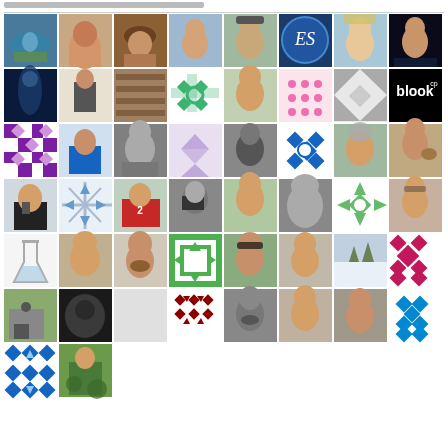[Figure (photo): Grid of profile photos and quilt pattern avatars arranged in a 8-column by 7-row mosaic grid. Contains portrait photos of various people interspersed with decorative quilt-style pattern tiles in colors including purple, green, blue, pink, gray, magenta, cyan. Also includes a 'blook' logo tile and a flask/beaker illustration tile.]